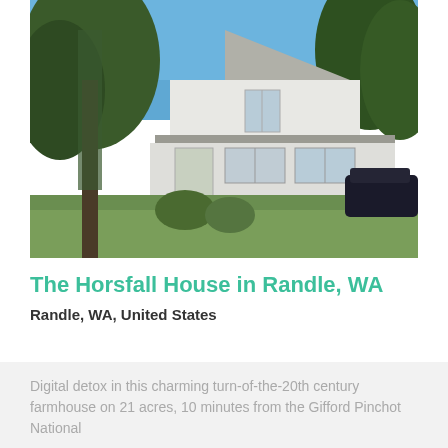[Figure (photo): Exterior photo of a white two-story farmhouse with a metal roof, surrounded by large trees and a green lawn, with a blue sky in the background. A dark SUV is parked on the right side.]
The Horsfall House in Randle, WA
Randle, WA, United States
Digital detox in this charming turn-of-the-20th century farmhouse on 21 acres, 10 minutes from the Gifford Pinchot National